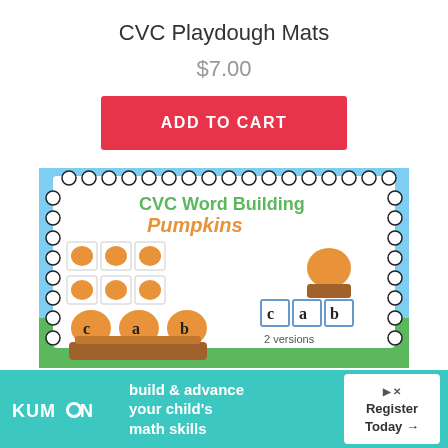CVC Playdough Mats
$7.00
ADD TO CART
[Figure (illustration): Product image showing CVC Word Building Pumpkins educational activity with pumpkins labeled c, a, b and matching cards, 2 versions noted]
[Figure (infographic): Kumon advertisement banner: build & advance your child's math skills. Register Today arrow.]